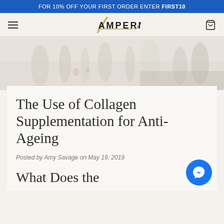FOR 10% OFF YOUR FIRST ORDER ENTER FIRST10
[Figure (logo): Amperna brand logo with stylized lightning bolt and gold line through text]
[Figure (photo): Blurred lifestyle photo of skincare bottles and products on a surface, light background]
The Use of Collagen Supplementation for Anti-Ageing
Posted by Amy Savage on May 19, 2019
What Does the